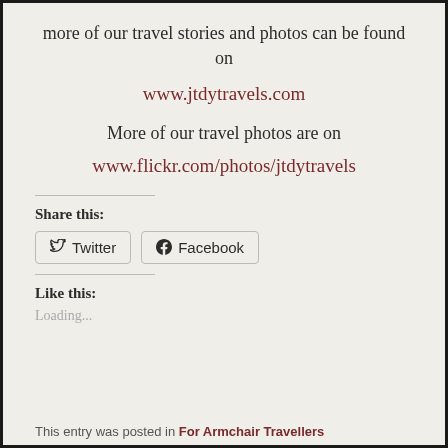more of our travel stories and photos can be found on
www.jtdytravels.com
More of our travel photos are on
www.flickr.com/photos/jtdytravels
Share this:
Twitter  Facebook
Like this:
Loading...
This entry was posted in For Armchair Travellers